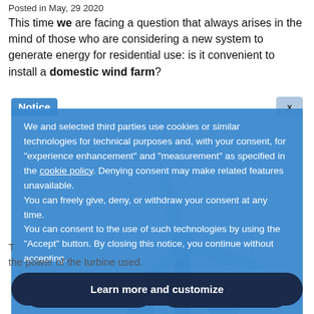Posted in May, 29 2020
This time we are facing a question that always arises in the mind of those who are considering a new system to generate energy for residential use: is it convenient to install a domestic wind farm?
Notice
We and selected third parties use cookies or similar technologies for technical purposes and, with your consent, for “experience enhancement” and “measurement” as specified in the cookie policy. Denying consent may make related features unavailable.
You can freely give, deny, or withdraw your consent at any time.
You can consent to the use of such technologies by using the “Accept” button. By closing this notice, you continue without accepting.
Reject
Accept
Learn more and customize
T... the power of the turbine used.